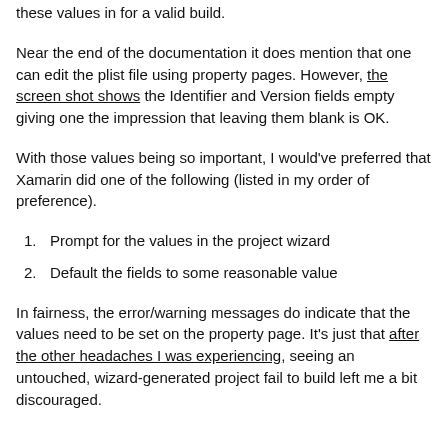these values in for a valid build.
Near the end of the documentation it does mention that one can edit the plist file using property pages. However, the screen shot shows the Identifier and Version fields empty giving one the impression that leaving them blank is OK.
With those values being so important, I would've preferred that Xamarin did one of the following (listed in my order of preference).
Prompt for the values in the project wizard
Default the fields to some reasonable value
In fairness, the error/warning messages do indicate that the values need to be set on the property page. It's just that after the other headaches I was experiencing, seeing an untouched, wizard-generated project fail to build left me a bit discouraged.